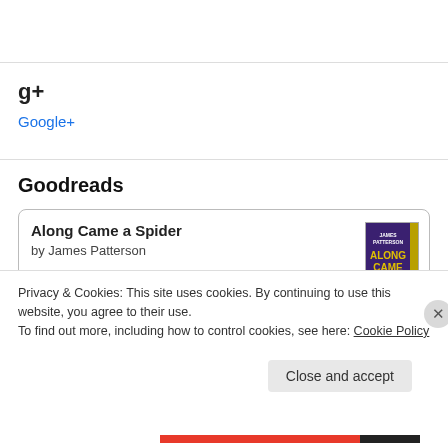g+
Google+
Goodreads
Along Came a Spider
by James Patterson
Privacy & Cookies: This site uses cookies. By continuing to use this website, you agree to their use.
To find out more, including how to control cookies, see here: Cookie Policy
Close and accept